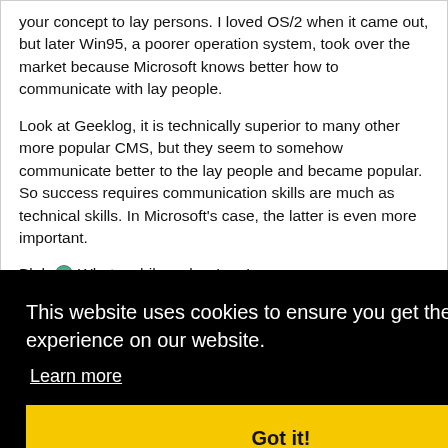your concept to lay persons. I loved OS/2 when it came out, but later Win95, a poorer operation system, took over the market because Microsoft knows better how to communicate with lay people.
Look at Geeklog, it is technically superior to many other more popular CMS, but they seem to somehow communicate better to the lay people and became popular. So success requires communication skills are much as technical skills. In Microsoft's case, the latter is even more important.
Blah What a philosopher I am!
[Figure (screenshot): Cookie consent overlay on a dark black background displaying: 'This website uses cookies to ensure you get the best experience on our website.' with a 'Learn more' link and a yellow 'Got it!' button.]
ote
Euan